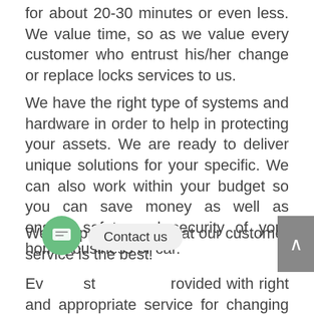for about 20-30 minutes or even less. We value time, so as we value every customer who entrust his/her change or replace locks services to us.
We have the right type of systems and hardware in order to help in protecting your assets. We are ready to deliver unique solutions for your specific. We can also work within your budget so you can save money as well as ensure safety and security of your home, business or car.
We are proud to say that our customer service is the best!
Every customer is provided with right and appropriate service for changing locks. Whatever type